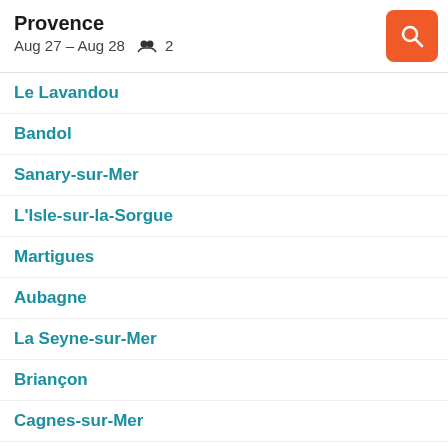Provence
Aug 27 – Aug 28   2
Le Lavandou
Bandol
Sanary-sur-Mer
L'Isle-sur-la-Sorgue
Martigues
Aubagne
La Seyne-sur-Mer
Briançon
Cagnes-sur-Mer
Isola
Orange
Sainte-Maxime
Gap
Marignane
Bormes-les-Mimosas
Saint-Rémy-de-Provence
Vitrolles